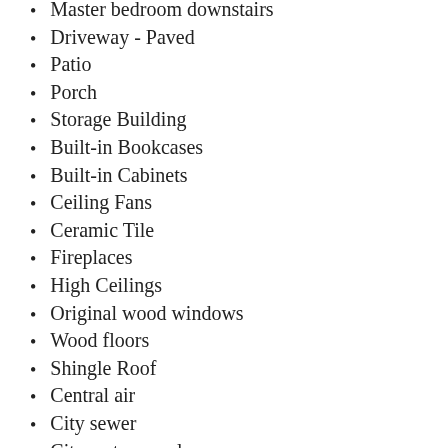Master bedroom downstairs
Driveway - Paved
Patio
Porch
Storage Building
Built-in Bookcases
Built-in Cabinets
Ceiling Fans
Ceramic Tile
Fireplaces
High Ceilings
Original wood windows
Wood floors
Shingle Roof
Central air
City sewer
City water supply
Dishwasher
Disposal
Gas heating
Water Heater - Electric
Plaster Walls